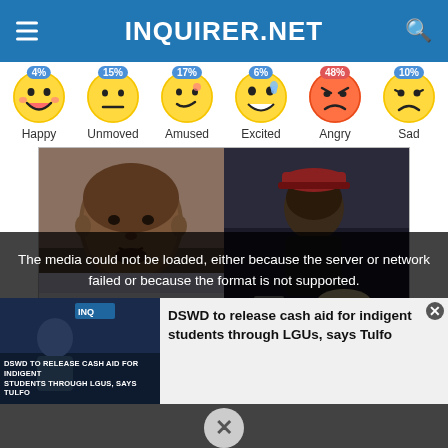INQUIRER.NET
[Figure (infographic): Emotion reaction bar with 6 emoji faces and percentages: Happy 4%, Unmoved 15%, Amused 17%, Excited 6%, Angry 48%, Sad 10%]
[Figure (photo): Two side-by-side photos: left is a mugshot of a Black man, right is a surveillance or news photo of a person in a dark outfit and cap]
The media could not be loaded, either because the server or network failed or because the format is not supported.
DSWD to release cash aid for indigent students through LGUs, says Tulfo
DSWD TO RELEASE CASH AID FOR INDIGENT STUDENTS THROUGH LGUs, SAYS TULFO